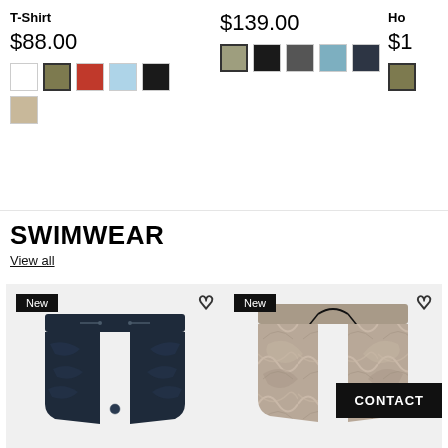T-Shirt
$88.00
$139.00
Ho
$1
SWIMWEAR
View all
[Figure (photo): Dark navy patterned swim shorts with drawstring]
[Figure (photo): Marble/swirl patterned swim shorts in grey/tan with black drawstring]
[Figure (photo): Partial view of third product card with New badge]